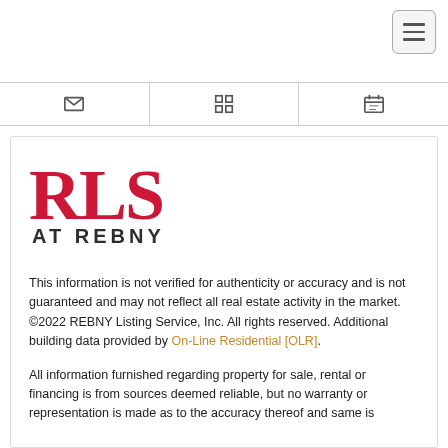[Figure (screenshot): Hamburger menu button in top-right corner]
[Figure (screenshot): Icon tab bar with three icons: envelope/mail, grid, and building/calendar]
[Figure (logo): RLS AT REBNY logo — large red bold 'RLS' with dark 'AT REBNY' subtitle]
This information is not verified for authenticity or accuracy and is not guaranteed and may not reflect all real estate activity in the market. ©2022 REBNY Listing Service, Inc. All rights reserved. Additional building data provided by On-Line Residential [OLR].
All information furnished regarding property for sale, rental or financing is from sources deemed reliable, but no warranty or representation is made as to the accuracy thereof and same is submitted subject to errors, omissions, changes of price, rental or other conditions, prior to sale, lease or financing or withdrawal without notice.